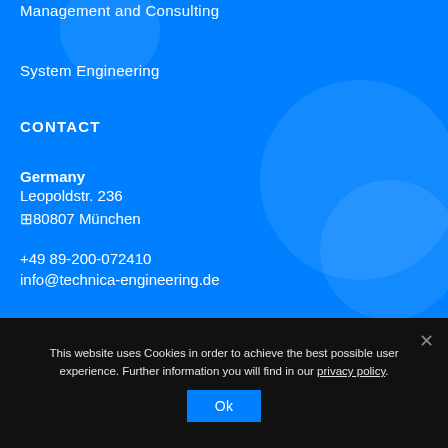Management and Consulting
System Engineering
CONTACT
Germany
Leopoldstr. 236
⊡80807 München

+49 89-200-072410
info@technica-engineering.de
This website uses Cookies in order to achieve the best possible user experience. Further information you will find in our privacy policy.
Ok